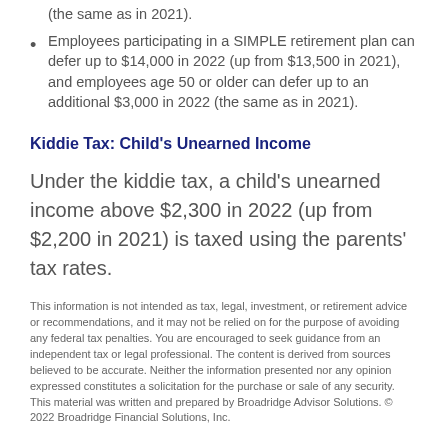(the same as in 2021).
Employees participating in a SIMPLE retirement plan can defer up to $14,000 in 2022 (up from $13,500 in 2021), and employees age 50 or older can defer up to an additional $3,000 in 2022 (the same as in 2021).
Kiddie Tax: Child's Unearned Income
Under the kiddie tax, a child's unearned income above $2,300 in 2022 (up from $2,200 in 2021) is taxed using the parents' tax rates.
This information is not intended as tax, legal, investment, or retirement advice or recommendations, and it may not be relied on for the purpose of avoiding any federal tax penalties. You are encouraged to seek guidance from an independent tax or legal professional. The content is derived from sources believed to be accurate. Neither the information presented nor any opinion expressed constitutes a solicitation for the purchase or sale of any security. This material was written and prepared by Broadridge Advisor Solutions. © 2022 Broadridge Financial Solutions, Inc.